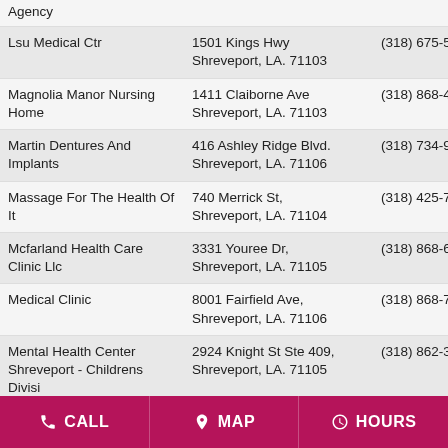| Name | Address | Phone |
| --- | --- | --- |
| Agency |  |  |
| Lsu Medical Ctr | 1501 Kings Hwy
Shreveport, LA. 71103 | (318) 675-5000 |
| Magnolia Manor Nursing Home | 1411 Claiborne Ave
Shreveport, LA. 71103 | (318) 868-4421 |
| Martin Dentures And Implants | 416 Ashley Ridge Blvd.
Shreveport, LA. 71106 | (318) 734-9515 |
| Massage For The Health Of It | 740 Merrick St,
Shreveport, LA. 71104 | (318) 425-7128 |
| Mcfarland Health Care Clinic Llc | 3331 Youree Dr,
Shreveport, LA. 71105 | (318) 868-6555 |
| Medical Clinic | 8001 Fairfield Ave,
Shreveport, LA. 71106 | (318) 868-7936 |
| Mental Health Center Shreveport - Childrens Divisi | 2924 Knight St Ste 409,
Shreveport, LA. 71105 | (318) 862-3053 |
| Mills Clinic | 7225 Fern Ave,
Shreveport, LA. 71105 | (318) 629-3630 |
| Mlk Health Center | 827 Margaret Pl Ste 201, | (318) 227-8105 |
CALL  MAP  HOURS